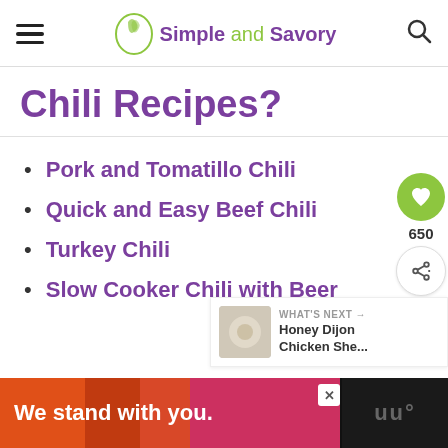Simple and Savory
Chili Recipes?
Pork and Tomatillo Chili
Quick and Easy Beef Chili
Turkey Chili
Slow Cooker Chili with Beer
WHAT'S NEXT → Honey Dijon Chicken She...
We stand with you.